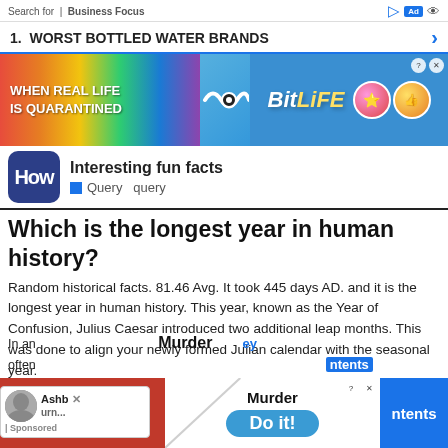Search for | Business Focus
1.  WORST BOTTLED WATER BRANDS
[Figure (screenshot): BitLife app advertisement banner with rainbow gradient background, text 'WHEN REAL LIFE IS QUARANTINED' and BitLife logo with emoji characters]
Interesting fun facts — How | Query  query
Which is the longest year in human history?
Random historical facts. 81.46 Avg. It took 445 days AD. and it is the longest year in human history. This year, known as the Year of Confusion, Julius Caesar introduced two additional leap months. This was done to align your newly formed Julian calendar with the seasonal year.
hey divide history into old and s?
[Figure (screenshot): Ad popup overlay showing a person photo with name 'Ashb urn...' and '| Sponsored' text with close button]
[Figure (screenshot): Bottom advertisement banners: BitLife red/blue ad with 'Murder Do it!' text and blue 'ntents' section]